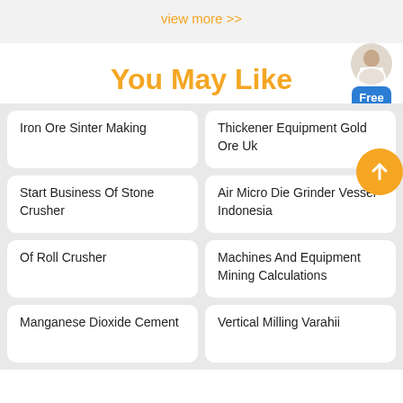view more >>
You May Like
Iron Ore Sinter Making
Thickener Equipment Gold Ore Uk
Start Business Of Stone Crusher
Air Micro Die Grinder Vessel Indonesia
Of Roll Crusher
Machines And Equipment Mining Calculations
Manganese Dioxide Cement
Vertical Milling Varahii